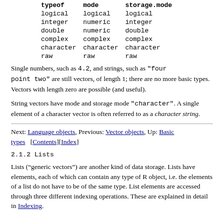| typeof | mode | storage.mode |
| --- | --- | --- |
| logical | logical | logical |
| integer | numeric | integer |
| double | numeric | double |
| complex | complex | complex |
| character | character | character |
| raw | raw | raw |
Single numbers, such as 4.2, and strings, such as "four point two" are still vectors, of length 1; there are no more basic types. Vectors with length zero are possible (and useful).
String vectors have mode and storage mode "character". A single element of a character vector is often referred to as a character string.
Next: Language objects, Previous: Vector objects, Up: Basic types   [Contents][Index]
2.1.2 Lists
Lists (“generic vectors”) are another kind of data storage. Lists have elements, each of which can contain any type of R object, i.e. the elements of a list do not have to be of the same type. List elements are accessed through three different indexing operations. These are explained in detail in Indexing.